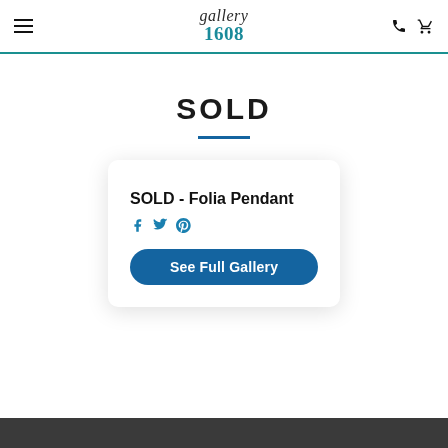gallery 1608
SOLD
SOLD - Folia Pendant
[Figure (illustration): Social media share icons: Facebook, Twitter, Pinterest in teal/blue]
See Full Gallery